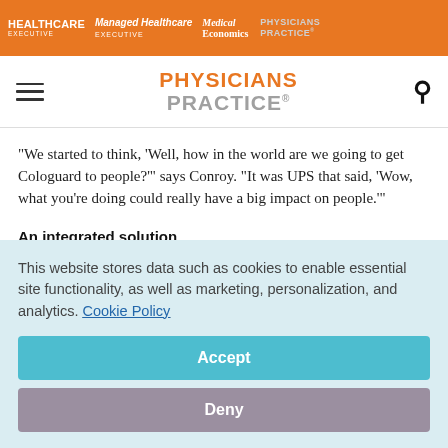HEALTHCARE EXECUTIVE | Managed Healthcare EXECUTIVE | Medical Economics | PHYSICIANS PRACTICE
PHYSICIANS PRACTICE
"We started to think, 'Well, how in the world are we going to get Cologuard to people?'" says Conroy. "It was UPS that said, 'Wow, what you're doing could really have a big impact on people.'"
An integrated solution
This website stores data such as cookies to enable essential site functionality, as well as marketing, personalization, and analytics. Cookie Policy
Accept
Deny